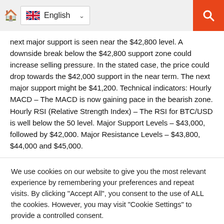English (language selector with home icon and search button)
next major support is seen near the $42,800 level. A downside break below the $42,800 support zone could increase selling pressure. In the stated case, the price could drop towards the $42,000 support in the near term. The next major support might be $41,200. Technical indicators: Hourly MACD – The MACD is now gaining pace in the bearish zone. Hourly RSI (Relative Strength Index) – The RSI for BTC/USD is well below the 50 level. Major Support Levels – $43,000, followed by $42,000. Major Resistance Levels – $43,800, $44,000 and $45,000.
We use cookies on our website to give you the most relevant experience by remembering your preferences and repeat visits. By clicking "Accept All", you consent to the use of ALL the cookies. However, you may visit "Cookie Settings" to provide a controlled consent.